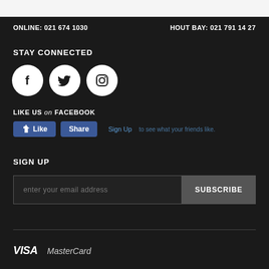ONLINE: 021 674 1030
HOUT BAY: 021 791 1427
STAY CONNECTED
[Figure (illustration): Three social media icon buttons: Facebook (f), Twitter (bird), Instagram (camera)]
LIKE US on FACEBOOK
[Figure (screenshot): Facebook Like and Share buttons with Sign Up link]
SIGN UP
enter your email address
SUBSCRIBE
[Figure (logo): VISA and MasterCard payment logos]